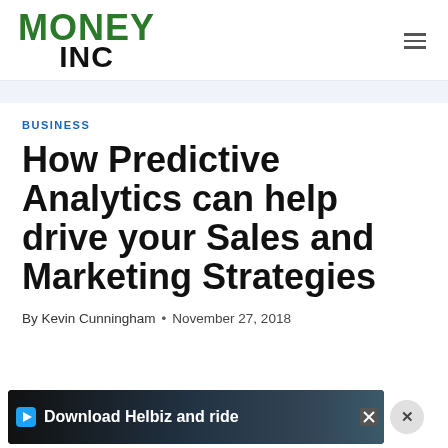MONEY INC
BUSINESS
How Predictive Analytics can help drive your Sales and Marketing Strategies
By Kevin Cunningham • November 27, 2018
[Figure (other): Advertisement banner: Download Helbiz and ride, with a photo of a scooter handlebar in the background]